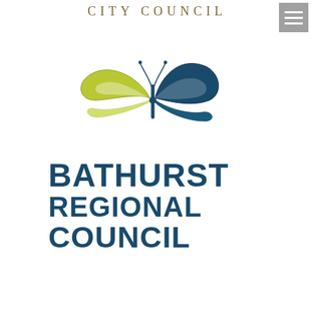CITY COUNCIL
[Figure (logo): Bathurst Regional Council logo with butterfly graphic and text 'BATHURST REGIONAL COUNCIL']